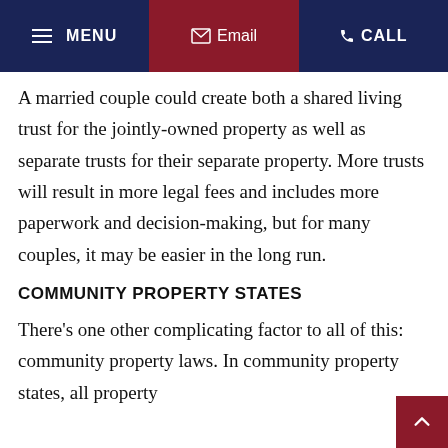≡ MENU  ✉ Email  ☎ CALL
A married couple could create both a shared living trust for the jointly-owned property as well as separate trusts for their separate property. More trusts will result in more legal fees and includes more paperwork and decision-making, but for many couples, it may be easier in the long run.
COMMUNITY PROPERTY STATES
There's one other complicating factor to all of this: community property laws. In community property states, all property...